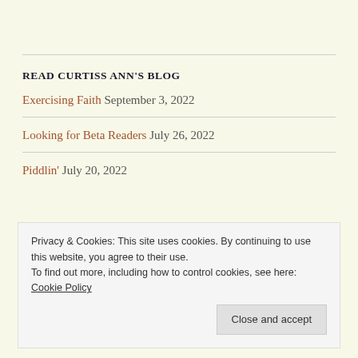READ CURTISS ANN'S BLOG
Exercising Faith  September 3, 2022
Looking for Beta Readers  July 26, 2022
Piddlin'  July 20, 2022
Privacy & Cookies: This site uses cookies. By continuing to use this website, you agree to their use.
To find out more, including how to control cookies, see here: Cookie Policy